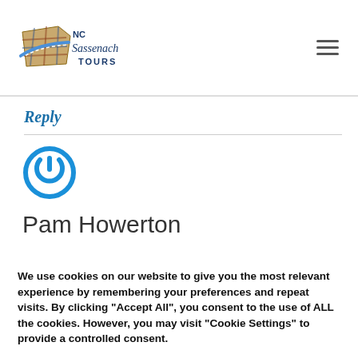[Figure (logo): NC Sassenach Tours logo with plaid map shape and script/serif text]
Reply
Pam Howerton
We use cookies on our website to give you the most relevant experience by remembering your preferences and repeat visits. By clicking “Accept All”, you consent to the use of ALL the cookies. However, you may visit "Cookie Settings" to provide a controlled consent.